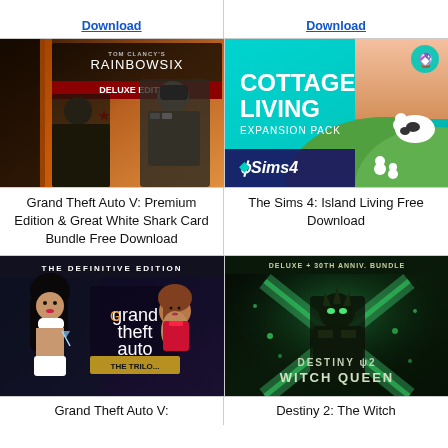Download
Download
[Figure (photo): Tom Clancy's Rainbow Six Siege Deluxe Edition game cover showing tactical operators]
Grand Theft Auto V: Premium Edition & Great White Shark Card Bundle Free Download
[Figure (photo): The Sims 4 Cottage Living Expansion Pack cover with countryside scene]
The Sims 4: Island Living Free Download
[Figure (photo): Grand Theft Auto: The Trilogy - The Definitive Edition cover]
Grand Theft Auto V:
[Figure (photo): Destiny 2: The Witch Queen Deluxe + 30th Anniversary Bundle cover]
Destiny 2: The Witch